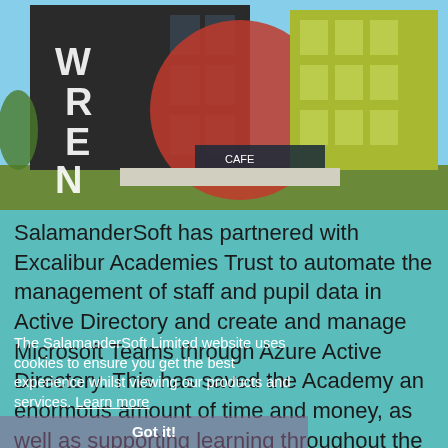[Figure (photo): Photograph of the Wren Academy building exterior — a modern multi-storey building with dark facade panels, a large red circular design element, and yellow-green painted sections. The letters W R E N are visible on the dark facade. A cafe sign is visible at ground level.]
SalamanderSoft has partnered with Excalibur Academies Trust to automate the management of staff and pupil data in Active Directory and create and manage Microsoft Teams through Azure Active Directory. This has saved the Academy an enormous amount of time and money, as well as supporting learning throughout the Covid-19 pandemic...
The SalamanderSoft Limited website uses cookies to ensure you get the best experience whilst viewing our products and services. Learn more
Got it!